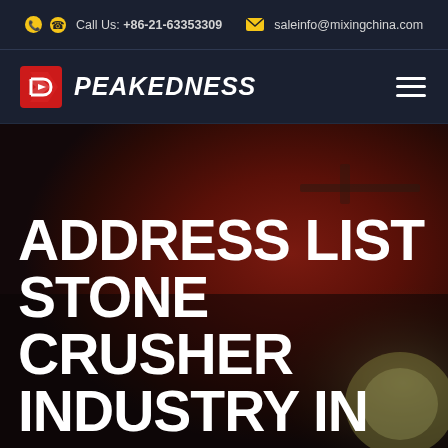Call Us: +86-21-63353309   saleinfo@mixingchina.com
[Figure (logo): Peakedness logo with red arrow/D icon and white bold italic text PEAKEDNESS on dark navy background, with hamburger menu icon on the right]
[Figure (photo): Hero background image with dark reddish-brown gradient, machinery/construction equipment visible in background]
ADDRESS LIST STONE CRUSHER INDUSTRY IN